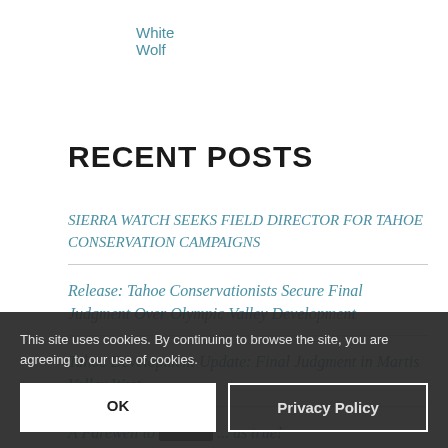White Wolf
RECENT POSTS
SIERRA WATCH SEEKS FIELD DIRECTOR FOR TAHOE CONSERVATION CAMPAIGNS
Release: Tahoe Conservationists Secure Final Judgment Over Olympic Valley Development
Tahoe Development Update: Final Judgment in Martis Valley West
A Farewell to ... us true!
Sierra Watch ... hoe Conservation Campaigns
This site uses cookies. By continuing to browse the site, you are agreeing to our use of cookies.